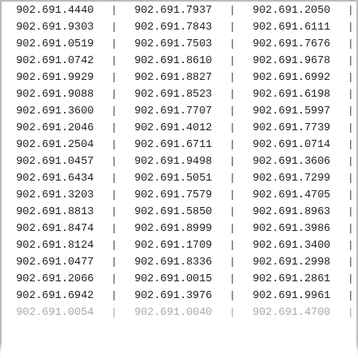| 902.691.4440 | | | 902.691.7937 | | | 902.691.2050 | | |
| 902.691.9303 | | | 902.691.7843 | | | 902.691.6111 | | |
| 902.691.0519 | | | 902.691.7503 | | | 902.691.7676 | | |
| 902.691.0742 | | | 902.691.8610 | | | 902.691.9678 | | |
| 902.691.9929 | | | 902.691.8827 | | | 902.691.6992 | | |
| 902.691.9088 | | | 902.691.8523 | | | 902.691.6198 | | |
| 902.691.3600 | | | 902.691.7707 | | | 902.691.5997 | | |
| 902.691.2046 | | | 902.691.4012 | | | 902.691.7739 | | |
| 902.691.2504 | | | 902.691.6711 | | | 902.691.0714 | | |
| 902.691.0457 | | | 902.691.9498 | | | 902.691.3606 | | |
| 902.691.6434 | | | 902.691.5051 | | | 902.691.7299 | | |
| 902.691.3203 | | | 902.691.7579 | | | 902.691.4705 | | |
| 902.691.8813 | | | 902.691.5850 | | | 902.691.8963 | | |
| 902.691.8474 | | | 902.691.8999 | | | 902.691.3986 | | |
| 902.691.8124 | | | 902.691.1709 | | | 902.691.3400 | | |
| 902.691.0477 | | | 902.691.8336 | | | 902.691.2998 | | |
| 902.691.2066 | | | 902.691.0015 | | | 902.691.2861 | | |
| 902.691.6942 | | | 902.691.3976 | | | 902.691.9961 | | |
| 902.691.0054 | | | 902.691.0040 | | | 902.691.4700 | | |